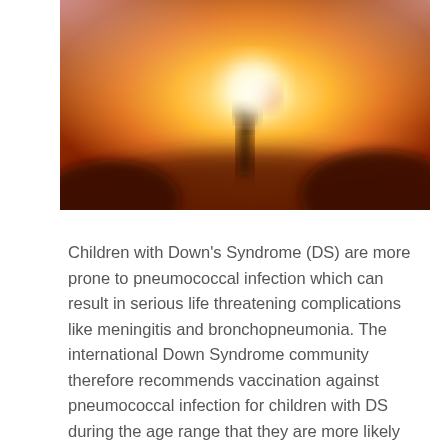[Figure (photo): A blurred warm-toned sunset photograph showing a silhouetted child figure holding what appears to be a balloon, with orange, yellow, and pink hues and soft bokeh effect.]
Children with Down's Syndrome (DS) are more prone to pneumococcal infection which can result in serious life threatening complications like meningitis and bronchopneumonia. The international Down Syndrome community therefore recommends vaccination against pneumococcal infection for children with DS during the age range that they are more likely to